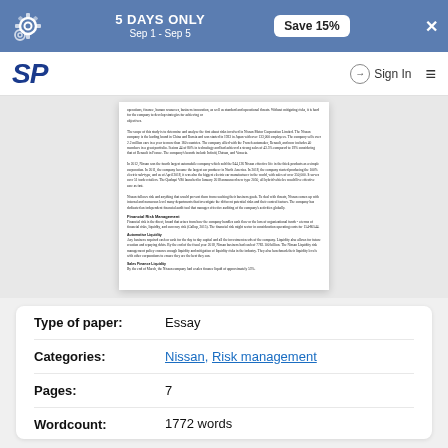[Figure (screenshot): Promotional banner: 5 DAYS ONLY Sep 1 - Sep 5, Save 15% button, with gear icons and X close button on blue background]
SP | Sign In | hamburger menu
[Figure (screenshot): Preview of a document page showing text about Nissan Motor Corporation financial risk management including sections on Financial Risk Management, Automotive Liquidity, and Sales Finance Liquidity]
| Field | Value |
| --- | --- |
| Type of paper: | Essay |
| Categories: | Nissan, Risk management |
| Pages: | 7 |
| Wordcount: | 1772 words |